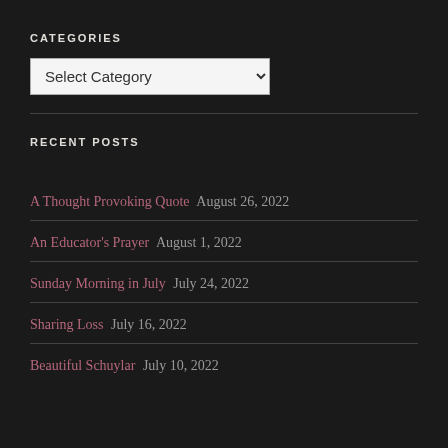CATEGORIES
[Figure (screenshot): A dropdown select box labeled 'Select Category' with a chevron on the right]
RECENT POSTS
A Thought Provoking Quote August 26, 2022
An Educator's Prayer August 1, 2022
Sunday Morning in July July 24, 2022
Sharing Loss July 16, 2022
Beautiful Schuylar July 10, 2022